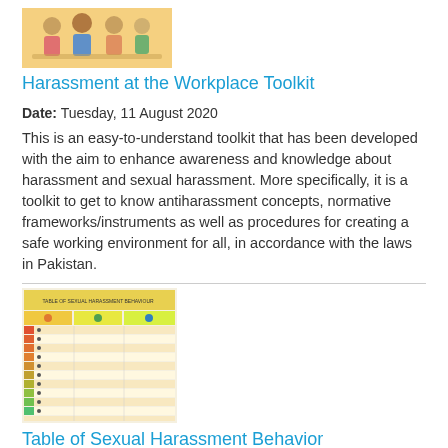[Figure (illustration): Thumbnail image showing a group of people sitting together, likely a workplace scene with warm colors.]
Harassment at the Workplace Toolkit
Date: Tuesday, 11 August 2020
This is an easy-to-understand toolkit that has been developed with the aim to enhance awareness and knowledge about harassment and sexual harassment. More specifically, it is a toolkit to get to know antiharassment concepts, normative frameworks/instruments as well as procedures for creating a safe working environment for all, in accordance with the laws in Pakistan.
[Figure (table-as-image): Thumbnail image of a table titled 'Table of Sexual Harassment Behaviour' with colored rows and columns showing categories of harassment behavior.]
Table of Sexual Harassment Behavior
Date: Monday, 26 August 2019
Following years of advocacy by women's organizations and civil society in Timor-Leste, there is greater attention from government